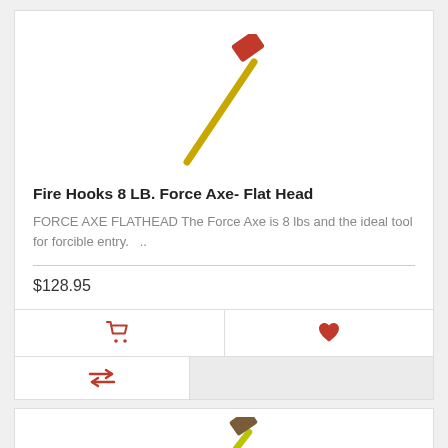[Figure (illustration): Illustration of a fire axe (flat head) with yellow handle and red head, shown at a diagonal angle]
Fire Hooks 8 LB. Force Axe- Flat Head
FORCE AXE FLATHEAD The Force Axe is 8 lbs and the ideal tool for forcible entry.  ..
$128.95
[Figure (illustration): Illustration of a second fire axe with yellow-green handle and brown/dark head, shown at a diagonal angle, partially visible at bottom of page]